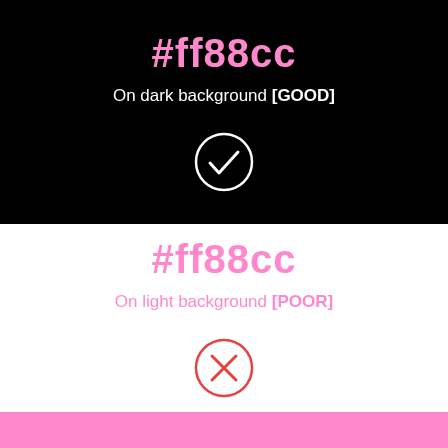[Figure (infographic): Dark background section showing #ff88cc color on black with a white checkmark circle indicating good contrast]
#ff88cc
On dark background [GOOD]
[Figure (infographic): Light background section showing #ff88cc color on white with a red X circle indicating poor contrast]
#ff88cc
On light background [POOR]
[Figure (infographic): Pink (#ff88cc) color swatch bar at the bottom]